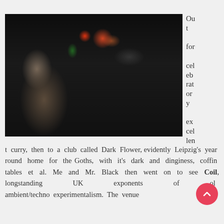[Figure (photo): A person with long hair wearing a black leather jacket sits at a dark table in a dimly lit venue. Various items including bottles, cards, and a red bowl are on the table. Another person is partially visible on the right.]
Out for celebratory excellent curry, then to a club called Dark Flower, evidently Leipzig's year round home for the Goths, with it's dark and dinginess, coffin tables et al. Me and Mr. Black then went on to see Coil, longstanding UK exponents of old ambient/techno experimentalism. The venue